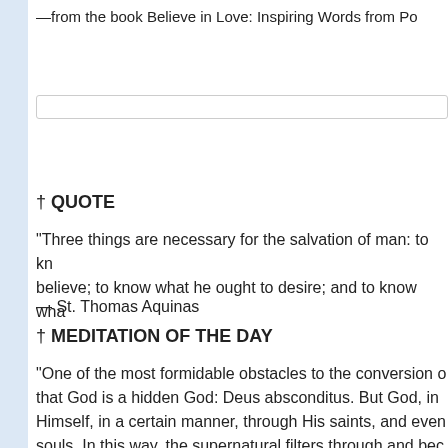—from the book Believe in Love: Inspiring Words from Po…
† QUOTE
"Three things are necessary for the salvation of man: to kn… believe; to know what he ought to desire; and to know wha…
— St. Thomas Aquinas
† MEDITATION OF THE DAY
"One of the most formidable obstacles to the conversion o… that God is a hidden God: Deus absconditus. But God, in Himself, in a certain manner, through His saints, and even… souls. In this way, the supernatural filters through and bec… faithful, who are thus able to apprehend something of the… make no mistake, there is a sort of instinct by which souls… defining what it is they sense, are aware of this radiation o…